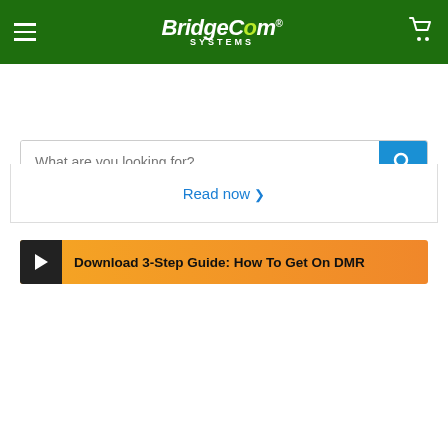[Figure (screenshot): BridgeCom Systems website header with green background, hamburger menu, logo, and cart icon]
What are you looking for?
Download 3-Step Guide: How To Get On DMR
Read now >
[Figure (screenshot): Winner Announcement TI-NET Giveaway promotional banner on green background with lime yellow and cyan text]
Refer Now!
Can I get you information on anything? I'm happy to help.